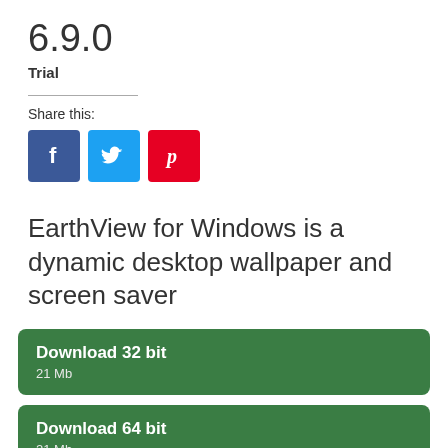6.9.0
Trial
Share this:
[Figure (infographic): Three social media share buttons: Facebook (blue), Twitter (light blue), Pinterest (red)]
EarthView for Windows is a dynamic desktop wallpaper and screen saver
Download 32 bit
21 Mb
Download 64 bit
21 Mb